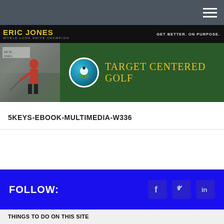Eric Jones – World Long Drive Champion | GET BETTER. ON PURPOSE.
[Figure (screenshot): Target Centered Golf banner with golfer silhouette on left, circular golf logo and gold text 'TARGET CENTERED GOLF' on green background]
5KEYS-EBOOK-MULTIMEDIA-W336
FOLLOW:
THINGS TO DO ON THIS SITE
Learn about Distance
Find out about Mental Skills
Check out my Books
Find Training Aids